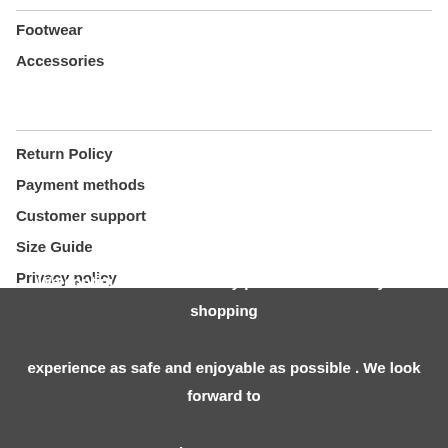Footwear
Accessories
Return Policy
Payment methods
Customer support
Size Guide
Privacy policy
Shipping
We continue to follow safety protocols to make your shopping experience as safe and enjoyable as possible . We look forward to seeing you at Strut!